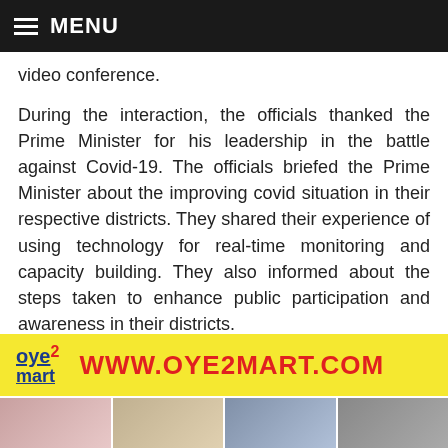MENU
video conference.
During the interaction, the officials thanked the Prime Minister for his leadership in the battle against Covid-19. The officials briefed the Prime Minister about the improving covid situation in their respective districts. They shared their experience of using technology for real-time monitoring and capacity building. They also informed about the steps taken to enhance public participation and awareness in their districts.
[Figure (other): Advertisement banner for oye2mart.com showing logo, website URL in red text on yellow background, and product images including women in traditional Indian clothing and a lamp]